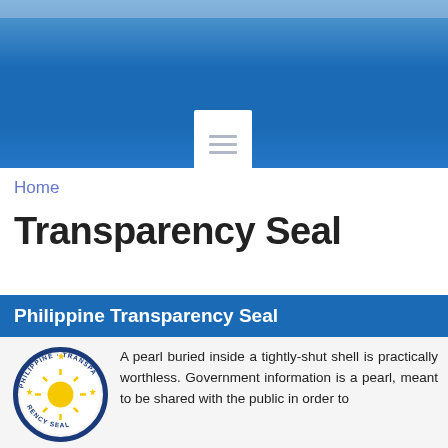[Figure (screenshot): Blue gradient header banner with a white document icon centered at the bottom]
Home
Transparency Seal
Philippine Transparency Seal
[Figure (logo): Philippine Transparency Seal circular logo with yellow sun and stars on blue border]
A pearl buried inside a tightly-shut shell is practically worthless. Government information is a pearl, meant to be shared with the public in order to